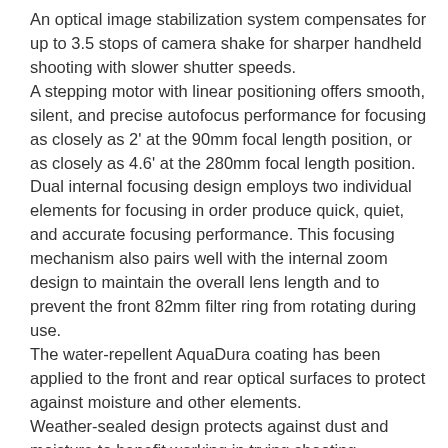An optical image stabilization system compensates for up to 3.5 stops of camera shake for sharper handheld shooting with slower shutter speeds.
A stepping motor with linear positioning offers smooth, silent, and precise autofocus performance for focusing as closely as 2' at the 90mm focal length position, or as closely as 4.6' at the 280mm focal length position.
Dual internal focusing design employs two individual elements for focusing in order produce quick, quiet, and accurate focusing performance. This focusing mechanism also pairs well with the internal zoom design to maintain the overall lens length and to prevent the front 82mm filter ring from rotating during use.
The water-repellent AquaDura coating has been applied to the front and rear optical surfaces to protect against moisture and other elements.
Weather-sealed design protects against dust and moisture to benefit working in trying shooting conditions.
Included lens hood helps to guard against stray light from entering the lens and to prevent unwanted ghosting and flare from occurring.
A removable rotating tripod collar lends increased stability when shooting at certain focal lengths or in portrait format 90°...